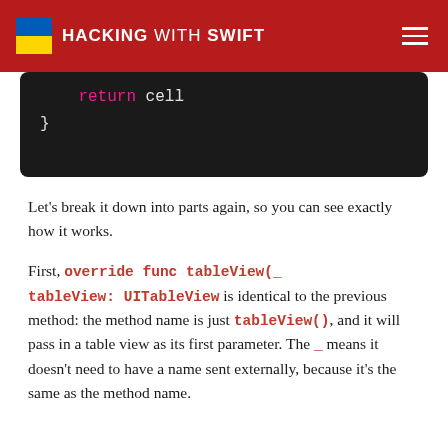HACKING WITH SWIFT
[Figure (screenshot): Code block showing: return cell and closing brace }]
Let's break it down into parts again, so you can see exactly how it works.
First, override func tableView(_ tableView: UITableView is identical to the previous method: the method name is just tableView(), and it will pass in a table view as its first parameter. The _ means it doesn't need to have a name sent externally, because it's the same as the method name.